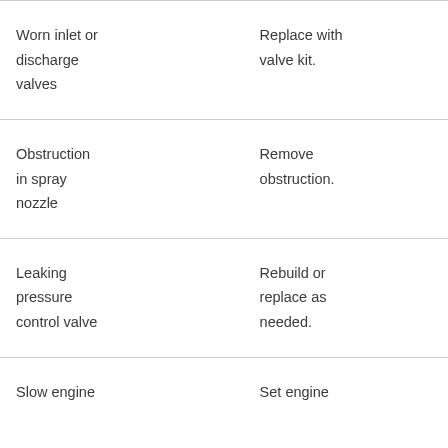| Cause | Remedy |
| --- | --- |
| Worn inlet or discharge valves | Replace with valve kit. |
| Obstruction in spray nozzle | Remove obstruction. |
| Leaking pressure control valve | Rebuild or replace as needed. |
| Slow engine | Set engine |